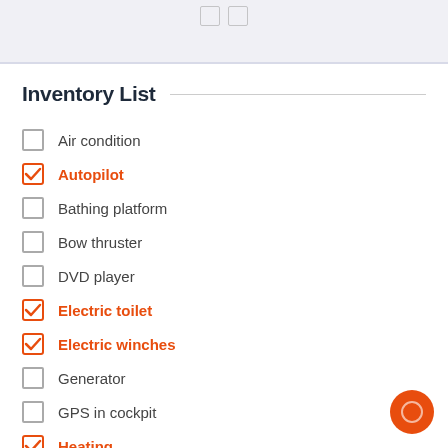Inventory List
Air condition
Autopilot
Bathing platform
Bow thruster
DVD player
Electric toilet
Electric winches
Generator
GPS in cockpit
Heating
Radar
Teak deck
TV